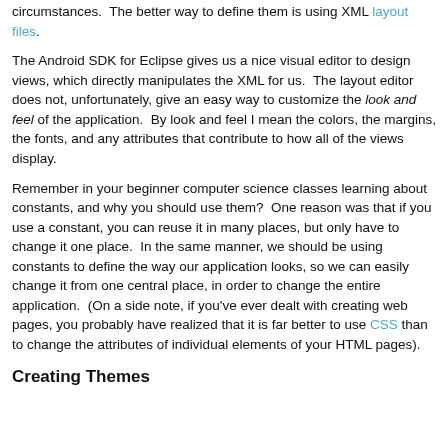circumstances.  The better way to define them is using XML layout files.
The Android SDK for Eclipse gives us a nice visual editor to design views, which directly manipulates the XML for us.  The layout editor does not, unfortunately, give an easy way to customize the look and feel of the application.  By look and feel I mean the colors, the margins, the fonts, and any attributes that contribute to how all of the views display.
Remember in your beginner computer science classes learning about constants, and why you should use them?  One reason was that if you use a constant, you can reuse it in many places, but only have to change it one place.  In the same manner, we should be using constants to define the way our application looks, so we can easily change it from one central place, in order to change the entire application.  (On a side note, if you've ever dealt with creating web pages, you probably have realized that it is far better to use CSS than to change the attributes of individual elements of your HTML pages).
Creating Themes